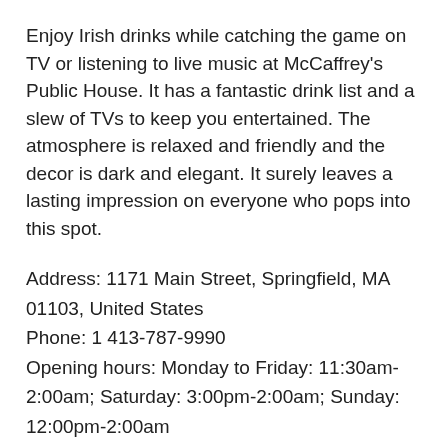Enjoy Irish drinks while catching the game on TV or listening to live music at McCaffrey's Public House. It has a fantastic drink list and a slew of TVs to keep you entertained. The atmosphere is relaxed and friendly and the decor is dark and elegant. It surely leaves a lasting impression on everyone who pops into this spot.
Address: 1171 Main Street, Springfield, MA 01103, United States
Phone: 1 413-787-9990
Opening hours: Monday to Friday: 11:30am-2:00am; Saturday: 3:00pm-2:00am; Sunday: 12:00pm-2:00am
Website: http://www.mccaffreys-publichouse.com/
Or